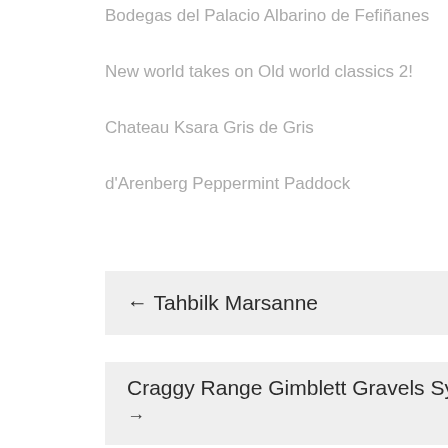Bodegas del Palacio Albarino de Fefiñanes
New world takes on Old world classics 2!
Chateau Ksara Gris de Gris
d'Arenberg Peppermint Paddock
← Tahbilk Marsanne
Craggy Range Gimblett Gravels Syrah →